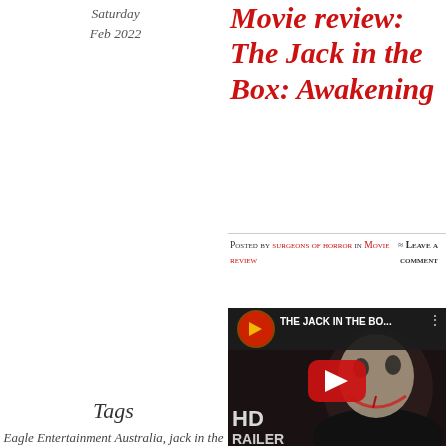Saturday Feb 2022
Movie review: The Jack in the Box: Awakening
Posted by SURGEONS OF HORROR in Movie Review ≈ Leave a comment
[Figure (screenshot): YouTube video thumbnail for 'The Jack in the Bo...' HD Trailer showing a clown monster with a red play button overlay]
Tags Eagle Entertainment Australia, jack in the box, jason ferries, lawrence fowler, matt mcclure, michaela londen, mollie